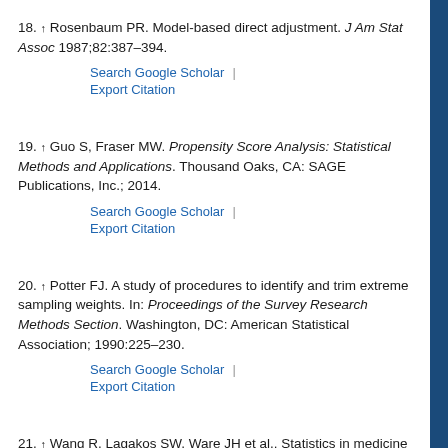18. ↑ Rosenbaum PR. Model-based direct adjustment. J Am Stat Assoc 1987;82:387–394.
19. ↑ Guo S, Fraser MW. Propensity Score Analysis: Statistical Methods and Applications. Thousand Oaks, CA: SAGE Publications, Inc.; 2014.
20. ↑ Potter FJ. A study of procedures to identify and trim extreme sampling weights. In: Proceedings of the Survey Research Methods Section. Washington, DC: American Statistical Association; 1990:225–230.
21. ↑ Wang R, Lagakos SW, Ware JH et al.. Statistics in medicine—reporting of subgroup analyses in clinical trials. N Engl J Med 2007;357:2189–2194.